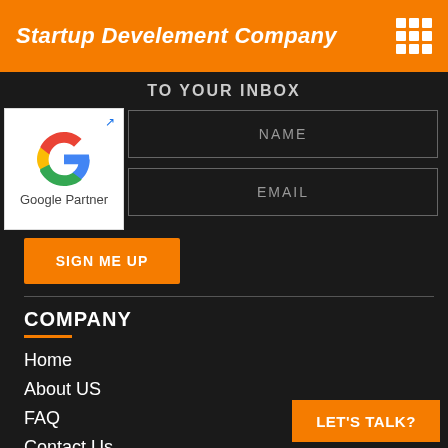Startup Develement Company
TO YOUR INBOX
[Figure (logo): Google Partner badge with colorful G logo]
NAME
EMAIL
SIGN ME UP
COMPANY
Home
About US
FAQ
Contact Us
Blog
LET'S TALK?